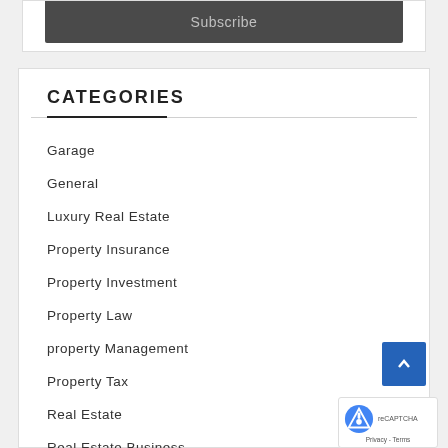Subscribe
CATEGORIES
Garage
General
Luxury Real Estate
Property Insurance
Property Investment
Property Law
property Management
Property Tax
Real Estate
Real Estate Business